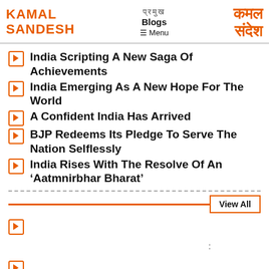KAMAL SANDESH | Blogs | Menu | कमल संदेश
India Scripting A New Saga Of Achievements
India Emerging As A New Hope For The World
A Confident India Has Arrived
BJP Redeems Its Pledge To Serve The Nation Selflessly
India Rises With The Resolve Of An 'Aatmnirbhar Bharat'
View All
: